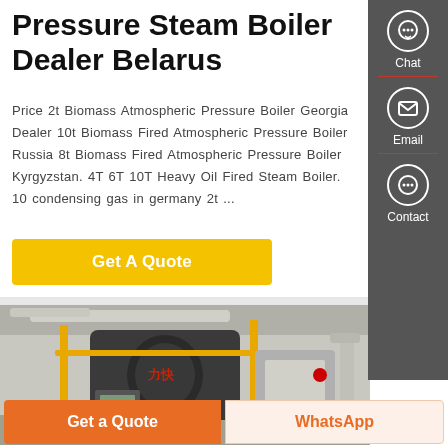Pressure Steam Boiler Dealer Belarus
Price 2t Biomass Atmospheric Pressure Boiler Georgia Dealer 10t Biomass Fired Atmospheric Pressure Boiler Russia 8t Biomass Fired Atmospheric Pressure Boiler Kyrgyzstan. 4T 6T 10T Heavy Oil Fired Steam Boiler. 10 condensing gas in germany 2t ...
[Figure (other): Yellow 'Get A Quote' button]
[Figure (photo): Industrial steam boiler in a factory setting with yellow railings and piping]
[Figure (infographic): Sidebar with Chat, Email, Contact icons on dark grey background]
[Figure (other): Bottom bar with 'Get a Quote' orange button and 'WhatsApp' button]